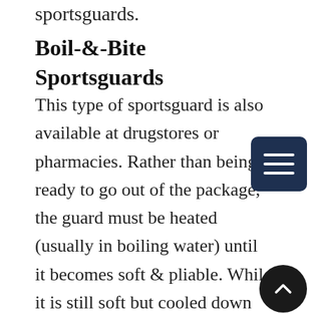sportsguards.
Boil-&-Bite Sportsguards
This type of sportsguard is also available at drugstores or pharmacies. Rather than being ready to go out of the package, the guard must be heated (usually in boiling water) until it becomes soft & pliable. While it is still soft but cooled down enough to handle, the athlete bites into the guard so it shapes around their teeth. While this does create a slightly better fit than the ready-made sportsguards, boil-